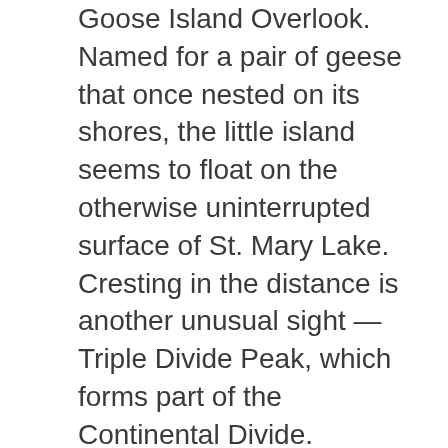Goose Island Overlook. Named for a pair of geese that once nested on its shores, the little island seems to float on the otherwise uninterrupted surface of St. Mary Lake. Cresting in the distance is another unusual sight — Triple Divide Peak, which forms part of the Continental Divide.
Up ahead the views open wide, and meadows of bunchgrass fan across the wilds. At Divide Creek the heart-stirring wonders of the park are left behind as you venture on to the vast plains lying to the east — unless, of course, you succumb to the urge to turn around and travel the drive through Glacier National